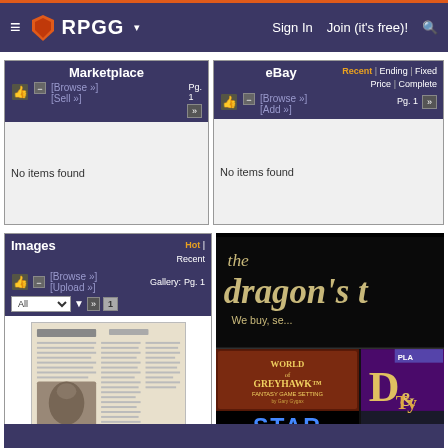≡ RPGG ▾   Sign In   Join (it's free)!   🔍
Marketplace
[Browse »] [Sell »]  Pg. 1
No items found
eBay
Recent | Ending | Fixed Price | Complete  [Browse »] [Add »]  Pg. 1
No items found
Images
Hot | Recent  [Browse »] [Upload »]  Gallery: All  Pg. 1
[Figure (screenshot): Thumbnail image of a magazine or book page showing The Dragon's Lair article with artwork and columns of text]
[Figure (advertisement): The Dragon's Lair store advertisement showing: 'the dragon's t...' text, 'We buy, se...' text, World of Greyhawk Fantasy Game Setting box art, Star Wars Roleplaying Game box art, and partial D& image]